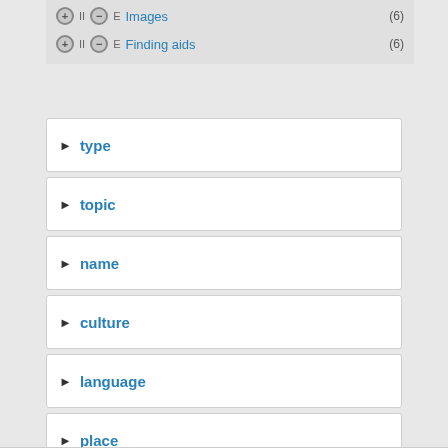Images (6)
Finding aids (6)
type
topic
name
culture
language
place
date
catalog record source